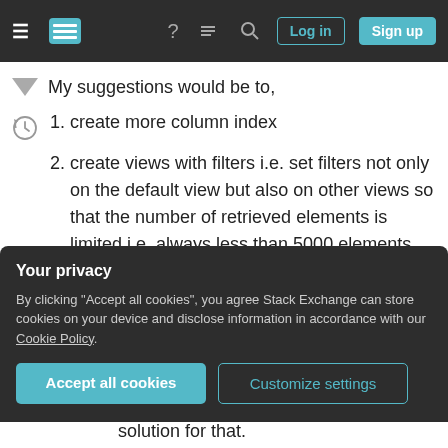Stack Exchange navigation bar with hamburger menu, logo, help icon, chat icon, search icon, Log in button, Sign up button
My suggestions would be to,
create more column index
create views with filters i.e. set filters not only on the default view but also on other views so that the number of retrieved elements is limited i.e. always less than 5000 elements (list threshold) are retrieved.
In case of Document libraries as well, build document structure using folders -> location
Your privacy
By clicking "Accept all cookies", you agree Stack Exchange can store cookies on your device and disclose information in accordance with our Cookie Policy.
Accept all cookies
Customize settings
solution for that.